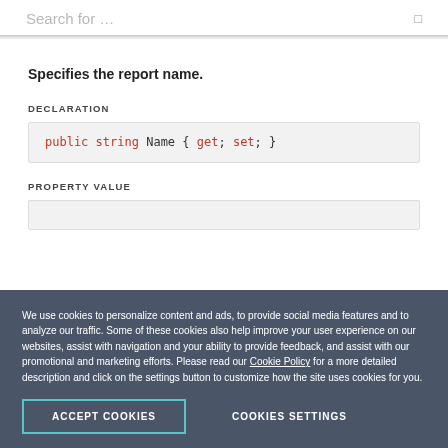Search for …
Specifies the report name.
DECLARATION
PROPERTY VALUE
We use cookies to personalize content and ads, to provide social media features and to analyze our traffic. Some of these cookies also help improve your user experience on our websites, assist with navigation and your ability to provide feedback, and assist with our promotional and marketing efforts. Please read our Cookie Policy for a more detailed description and click on the settings button to customize how the site uses cookies for you.
ACCEPT COOKIES
COOKIES SETTINGS